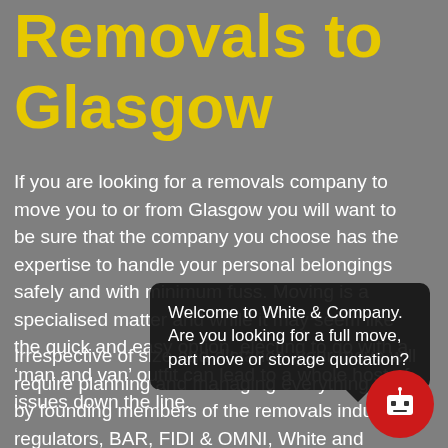Removals to Glasgow
If you are looking for a removals company to move you to or from Glasgow you will want to be sure that the company you choose has the expertise to handle your personal belongings safely and with minimum fuss. Moving is a specialised matter and while it may seem like the quick and easy option, electing to go with a ‘man and van’ outfit can lead to a whole host of issues down the line.
Irrespective of size and distance, your move will require planning and managing every thing, run by founding members of the removals industry’s regulators, BAR, FIDI & OMNI, White and Company have the
Welcome to White & Company. Are you looking for a full move, part move or storage quotation?